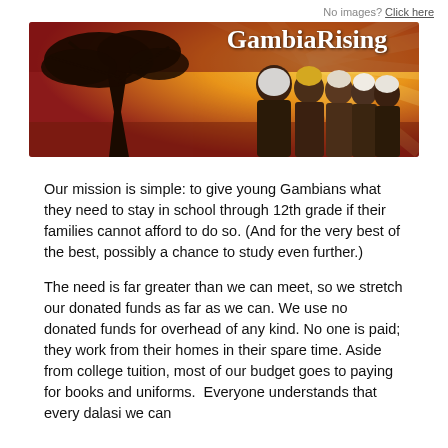No images? Click here
[Figure (illustration): GambiaRising banner image showing a silhouetted acacia tree on a warm golden-red sunset background with sunburst rays, and a group of young Gambian women/girls on the right side. The text 'GambiaRising' appears in bold white serif font in the upper right of the banner.]
Our mission is simple: to give young Gambians what they need to stay in school through 12th grade if their families cannot afford to do so. (And for the very best of the best, possibly a chance to study even further.)
The need is far greater than we can meet, so we stretch our donated funds as far as we can. We use no donated funds for overhead of any kind. No one is paid; they work from their homes in their spare time. Aside from college tuition, most of our budget goes to paying for books and uniforms.  Everyone understands that every dalasi we can